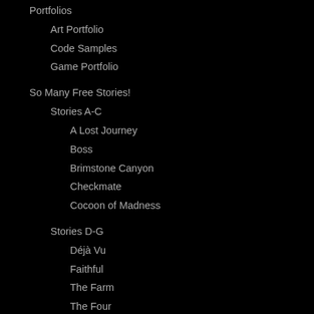Portfolios
Art Portfolio
Code Samples
Game Portfolio
So Many Free Stories!
Stories A-C
A Lost Journey
Boss
Brimstone Canyon
Checkmate
Cocoon of Madness
Stories D-G
Déjà Vu
Faithful
The Farm
The Four
Stories H-K
Heaven High
Indecisive
Island After
Justice
Knowing
The Heist Job
Stories L-S
Letters